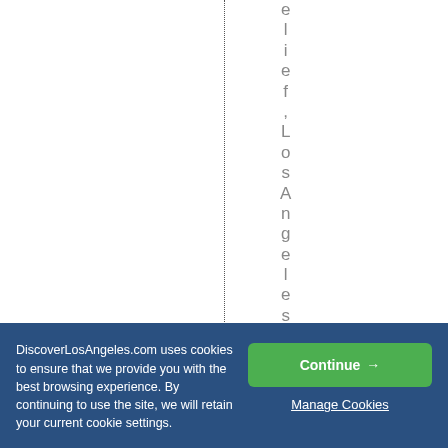e l i e f , L o s A n g e l e s
DiscoverLosAngeles.com uses cookies to ensure that we provide you with the best browsing experience. By continuing to use the site, we will retain your current cookie settings.
Continue →
Manage Cookies